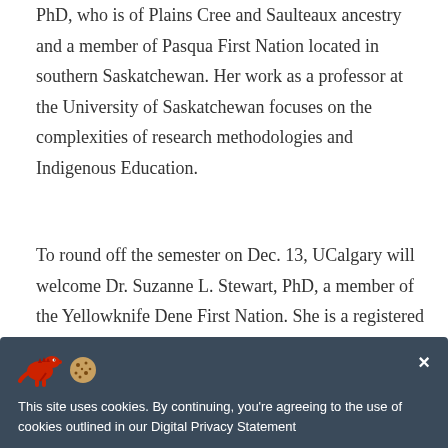PhD, who is of Plains Cree and Saulteaux ancestry and a member of Pasqua First Nation located in southern Saskatchewan. Her work as a professor at the University of Saskatchewan focuses on the complexities of research methodologies and Indigenous Education.
To round off the semester on Dec. 13, UCalgary will welcome Dr. Suzanne L. Stewart, PhD, a member of the Yellowknife Dene First Nation. She is a registered psychologist and the director of the Waakebiness-Bryce Institute for Indigenous Health at the Dalla Lana School of Public Health at the University of Toronto, where she is an associate professor in the Division of Social and
[Figure (other): Cookie consent banner with a red dinosaur emoji and cookie emoji icon, close button (×), and text: 'This site uses cookies. By continuing, you're agreeing to the use of cookies outlined in our Digital Privacy Statement']